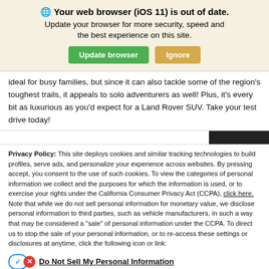🌐 Your web browser (iOS 11) is out of date. Update your browser for more security, speed and the best experience on this site.
ideal for busy families, but since it can also tackle some of the region's toughest trails, it appeals to solo adventurers as well! Plus, it's every bit as luxurious as you'd expect for a Land Rover SUV. Take your test drive today!
Privacy Policy: This site deploys cookies and similar tracking technologies to build profiles, serve ads, and personalize your experience across websites. By pressing accept, you consent to the use of such cookies. To view the categories of personal information we collect and the purposes for which the information is used, or to exercise your rights under the California Consumer Privacy Act (CCPA), click here. Note that while we do not sell personal information for monetary value, we disclose personal information to third parties, such as vehicle manufacturers, in such a way that may be considered a "sale" of personal information under the CCPA. To direct us to stop the sale of your personal information, or to re-access these settings or disclosures at anytime, click the following icon or link:
Do Not Sell My Personal Information
Language: English   Powered by ComplyAuto
Accept and Continue →   California Privacy Disclosures   ×